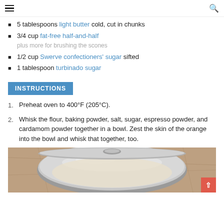Navigation header with hamburger menu and search icon
5 tablespoons light butter cold, cut in chunks
3/4 cup fat-free half-and-half plus more for brushing the scones
1/2 cup Swerve confectioners' sugar sifted
1 tablespoon turbinado sugar
INSTRUCTIONS
Preheat oven to 400°F (205°C).
Whisk the flour, baking powder, salt, sugar, espresso powder, and cardamom powder together in a bowl. Zest the skin of the orange into the bowl and whisk that together, too.
[Figure (photo): Photo of a metal mixing bowl with flour and dry ingredients on a granite countertop]